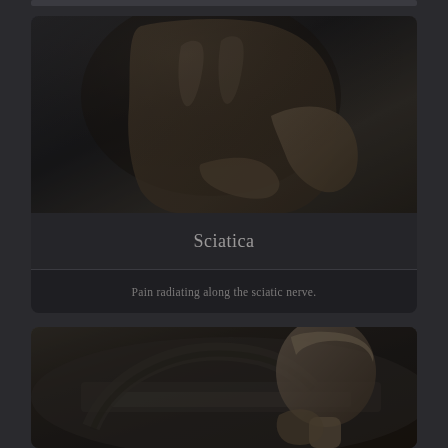[Figure (photo): Dark monochrome photo of a shirtless person gripping their lower back in pain, suggesting back/sciatic pain]
Sciatica
Pain radiating along the sciatic nerve.
[Figure (photo): Dark photo of a person in a vehicle, hand on neck/shoulder, suggesting neck or whiplash pain]